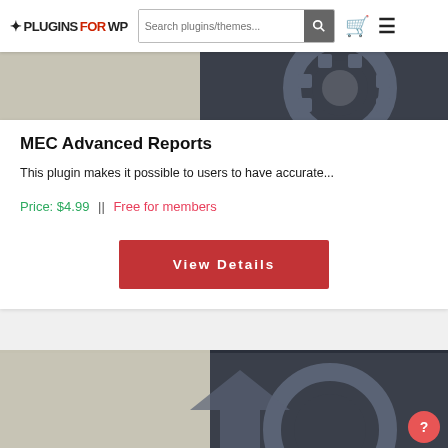PLUGINSFORWP — Search plugins/themes...
[Figure (illustration): Partial plugin banner image showing a decorative gear/logo graphic on a dark background, cropped at the top]
MEC Advanced Reports
This plugin makes it possible to users to have accurate...
Price: $4.99 || Free for members
View Details
[Figure (illustration): Bottom portion of another plugin banner image showing a decorative gear/logo graphic on a dark background, partially visible]